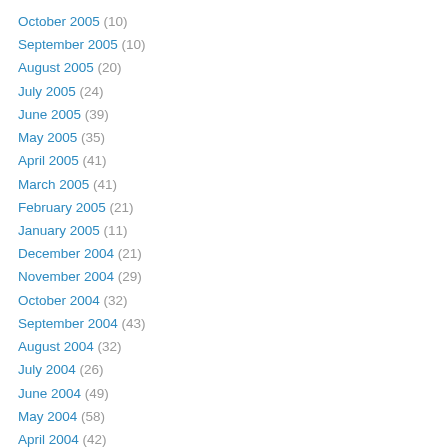October 2005 (10)
September 2005 (10)
August 2005 (20)
July 2005 (24)
June 2005 (39)
May 2005 (35)
April 2005 (41)
March 2005 (41)
February 2005 (21)
January 2005 (11)
December 2004 (21)
November 2004 (29)
October 2004 (32)
September 2004 (43)
August 2004 (32)
July 2004 (26)
June 2004 (49)
May 2004 (58)
April 2004 (42)
March 2004 (76)